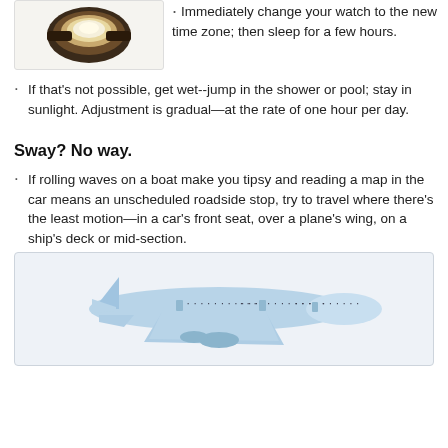[Figure (illustration): A clock or watch face partially visible at the top of the page, showing a brown/gold ring watch]
Immediately change your watch to the new time zone; then sleep for a few hours.
If that's not possible, get wet--jump in the shower or pool; stay in sunlight. Adjustment is gradual—at the rate of one hour per day.
Sway? No way.
If rolling waves on a boat make you tipsy and reading a map in the car means an unscheduled roadside stop, try to travel where there's the least motion—in a car's front seat, over a plane's wing, on a ship's deck or mid-section.
[Figure (illustration): Illustration of a commercial airplane, light blue color, viewed from the side]